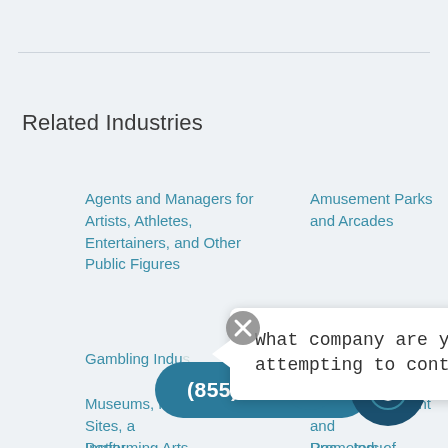Related Industries
Agents and Managers for Artists, Athletes, Entertainers, and Other Public Figures
Amusement Parks and Arcades
Gambling Indu...
What company are you attempting to contact?
Museums, Historical Sites, a... Institu...
Other Amusement and Rec... Indu...
Performing Arts
Promoters of Performing